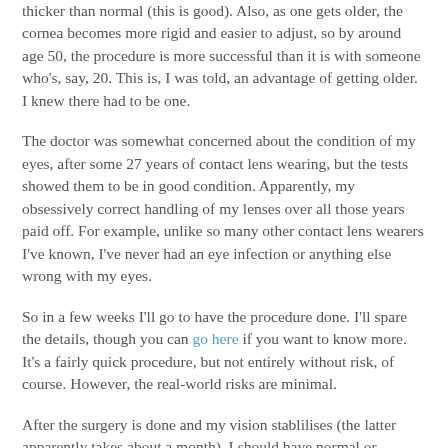thicker than normal (this is good). Also, as one gets older, the cornea becomes more rigid and easier to adjust, so by around age 50, the procedure is more successful than it is with someone who's, say, 20. This is, I was told, an advantage of getting older. I knew there had to be one.
The doctor was somewhat concerned about the condition of my eyes, after some 27 years of contact lens wearing, but the tests showed them to be in good condition. Apparently, my obsessively correct handling of my lenses over all those years paid off. For example, unlike so many other contact lens wearers I've known, I've never had an eye infection or anything else wrong with my eyes.
So in a few weeks I'll go to have the procedure done. I'll spare the details, though you can go here if you want to know more. It's a fairly quick procedure, but not entirely without risk, of course. However, the real-world risks are minimal.
After the surgery is done and my vision stablilises (the latter apparently takes about a month), I should have normal or